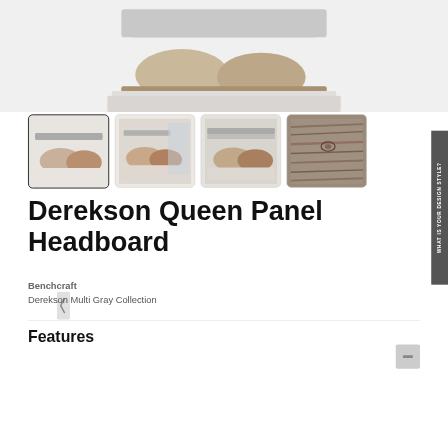[Figure (photo): Main product photo of Derekson Queen Panel Headboard showing bed with gray/brown bedding, partially visible at top of page]
[Figure (photo): Thumbnail 1 (selected): Derekson bed set angled view with brown/gray bedding]
[Figure (photo): Thumbnail 2: Derekson bed in room setting with window light]
[Figure (photo): Thumbnail 3: Derekson bed wider room view]
[Figure (photo): Thumbnail 4: Close-up of wood finish/texture in multi-gray tones]
Derekson Queen Panel Headboard
Benchcraft
Derekson Multi Gray Collection
Features